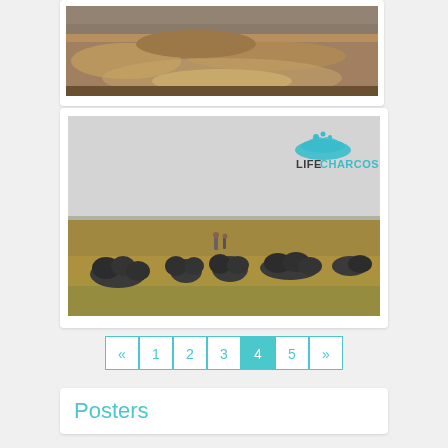[Figure (photo): Top photo card showing dry grass terrain landscape, partially visible, with a white card border]
[Figure (photo): Photo of an open flat dry grassland area with dark garbage bags piled in groups across the field, people visible in background, overcast sky. LIFECHARCOS logo in top right corner of the photo.]
« 1 2 3 4 5 »
Posters